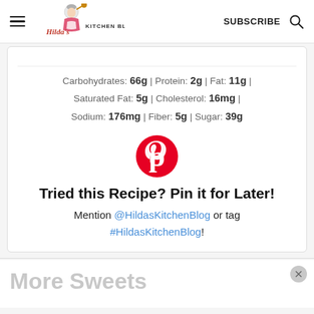Hilda's Kitchen Blog | SUBSCRIBE
Carbohydrates: 66g | Protein: 2g | Fat: 11g | Saturated Fat: 5g | Cholesterol: 16mg | Sodium: 176mg | Fiber: 5g | Sugar: 39g
[Figure (logo): Pinterest logo - red circle with white P]
Tried this Recipe? Pin it for Later!
Mention @HildasKitchenBlog or tag #HildasKitchenBlog!
More Sweets